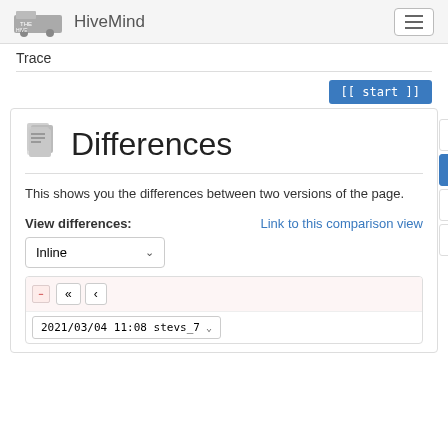HiveMind
Trace
[[ start ]]
Differences
This shows you the differences between two versions of the page.
View differences:
Link to this comparison view
Inline
2021/03/04 11:08 stevs_7